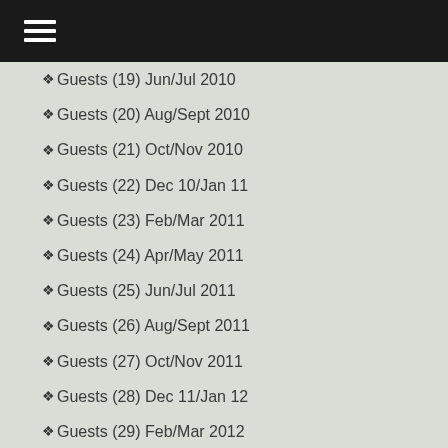Navigation menu
Guests (19) Jun/Jul 2010
Guests (20) Aug/Sept 2010
Guests (21) Oct/Nov 2010
Guests (22) Dec 10/Jan 11
Guests (23) Feb/Mar 2011
Guests (24) Apr/May 2011
Guests (25) Jun/Jul 2011
Guests (26) Aug/Sept 2011
Guests (27) Oct/Nov 2011
Guests (28) Dec 11/Jan 12
Guests (29) Feb/Mar 2012
Guests (30) Apr/May 2012
Guests (31) Jun/Jul 2012
Guests (32) Aug/Sept 2012
Guests (33) Oct/Nov 2012
Guests (34) Dec 12/Jan 13